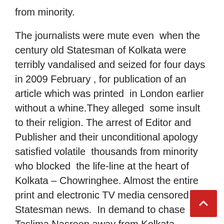from minority.

The journalists were mute even when the century old Statesman of Kolkata were terribly vandalised and seized for four days in 2009 February , for publication of an article which was printed in London earlier without a whine.They alleged some insult to their religion. The arrest of Editor and Publisher and their unconditional apology satisfied volatile thousands from minority who blocked the life-line at the heart of Kolkata – Chowringhee. Almost the entire print and electronic TV media censored the Statesman news. In demand to chase Taslima Nasreen away from Kolkata thousands